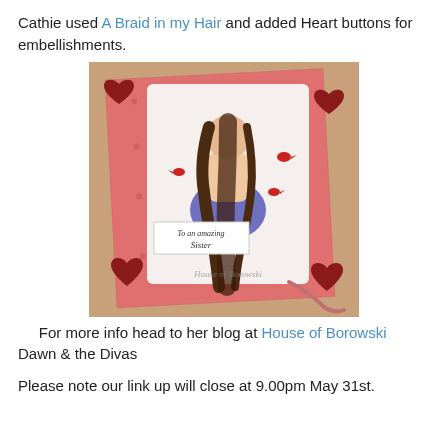Cathie used A Braid in my Hair and added Heart buttons for embellishments.
[Figure (photo): Photo of a handmade greeting card on a wooden surface. The card features a girl with a long braided hairstyle, wearing a blue dress, with red cardinal birds around her. The card is on a pink floral patterned background with dark red heart-shaped buttons as embellishments. A banner reads 'To an amazing Sister'. The watermark reads 'House of Borowski'.]
For more info head to her blog at House of Borowski Dawn & the Divas
Please note our link up will close at 9.00pm May 31st.